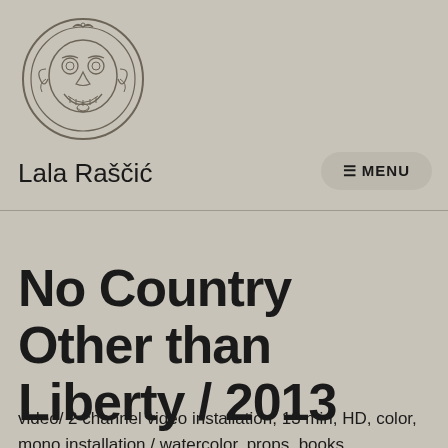[Figure (logo): Circular logo with a stylized face/mask illustration in line art style on a tan/beige background]
Lala Raščić
☰ MENU
No Country Other than Liberty / 2013
video/ 2 channel video installation, 13 min, HD, color, mono installation / watercolor, props, books, dimensions variable